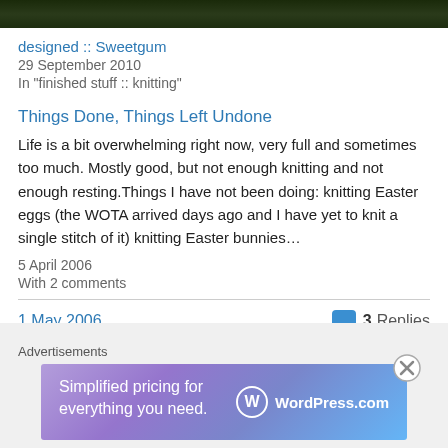[Figure (photo): Dark green foliage photo strip at top of page]
designed :: Sweetgum
29 September 2010
In "finished stuff :: knitting"
Things Done, Things Left Undone
Life is a bit overwhelming right now, very full and sometimes too much. Mostly good, but not enough knitting and not enough resting.Things I have not been doing: knitting Easter eggs (the WOTA arrived days ago and I have yet to knit a single stitch of it) knitting Easter bunnies…
5 April 2006
With 2 comments
1 May 2006
3 Replies
Advertisements
[Figure (screenshot): WordPress.com advertisement banner with text 'Simplified pricing for everything you need.']